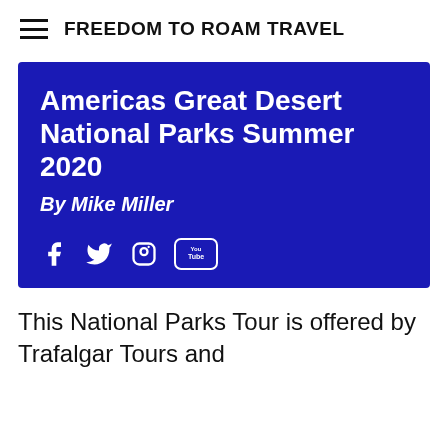FREEDOM TO ROAM TRAVEL
Americas Great Desert National Parks Summer 2020
By Mike Miller
This National Parks Tour is offered by Trafalgar Tours and